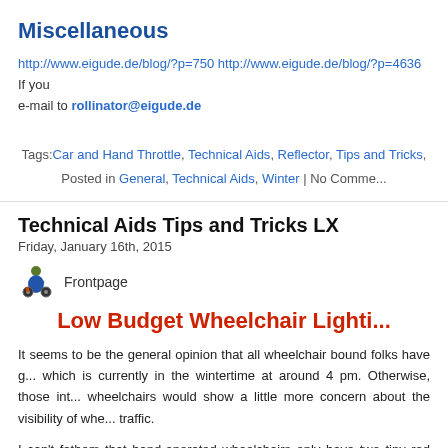Miscellaneous
http://www.eigude.de/blog/?p=750 http://www.eigude.de/blog/?p=4636 If you e-mail to rollinator@eigude.de
Tags: Car and Hand Throttle, Technical Aids, Reflector, Tips and Tricks, Posted in General, Technical Aids, Winter | No Comments
Technical Aids Tips and Tricks LX
Friday, January 16th, 2015
[Figure (illustration): Small illustration of a wheelchair user, Frontpage label]
Low Budget Wheelchair Lighting
It seems to be the general opinion that all wheelchair bound folks have g... which is currently in the wintertime at around 4 pm. Otherwise, those int... wheelchairs would show a little more concern about the visibility of whe... traffic.
I can't fathom that hand-operated wheelchairs only have two tiny red reflecto...